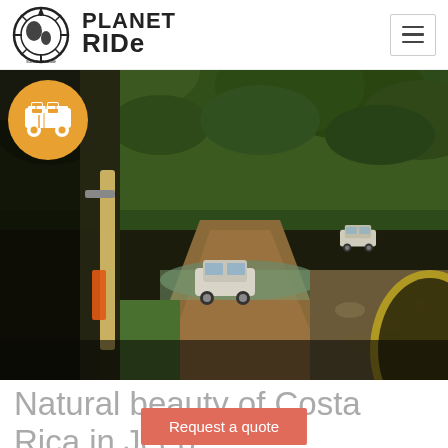Planet Ride
[Figure (photo): View from inside a jeep/4x4 vehicle through side mirror, showing convoy of white SUVs fording a muddy river crossing on a rugged dirt track surrounded by lush tropical vegetation in Costa Rica]
Natural beauty of Costa Rica in Jeep
Request a quote